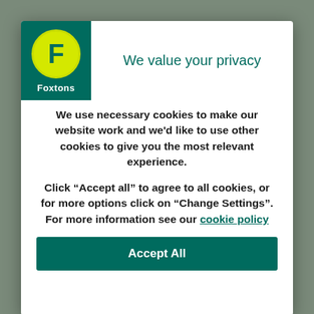[Figure (logo): Foxtons real estate logo: green background box with yellow circle containing white F letter and Foxtons text below]
We value your privacy
We use necessary cookies to make our website work and we'd like to use other cookies to give you the most relevant experience.
Click “Accept all” to agree to all cookies, or for more options click on “Change Settings”. For more information see our cookie policy